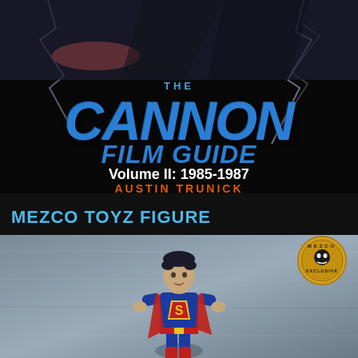[Figure (photo): Book cover of 'The Cannon Film Guide Volume II: 1985-1987' by Austin Trunick. Dark background with lightning effects and action movie imagery. Title in large blue italic letters, author name in orange.]
MEZCO TOYZ FIGURE
[Figure (photo): Mezco Toyz Superman action figure against a grey background. Figure shows Superman in classic blue and red costume. Mezco Exclusive circular badge in upper right corner.]